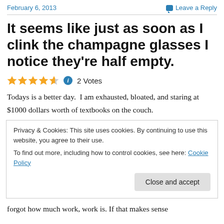February 6, 2013    Leave a Reply
It seems like just as soon as I clink the champagne glasses I notice they're half empty.
★★★★½ ℹ 2 Votes
Todays is a better day.  I am exhausted, bloated, and staring at $1000 dollars worth of textbooks on the couch.
Privacy & Cookies: This site uses cookies. By continuing to use this website, you agree to their use.
To find out more, including how to control cookies, see here: Cookie Policy
forgot how much work, work is. If that makes sense